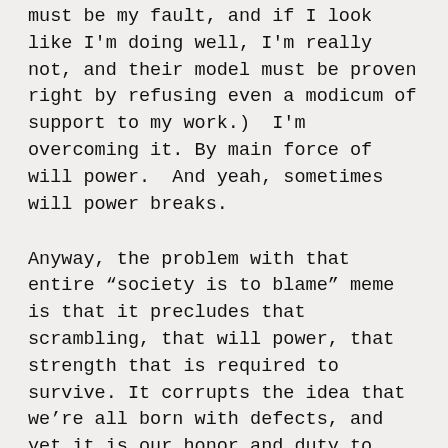must be my fault, and if I look like I'm doing well, I'm really not, and their model must be proven right by refusing even a modicum of support to my work.)  I'm overcoming it. By main force of will power.  And yeah, sometimes will power breaks.
Anyway, the problem with that entire “society is to blame” meme is that it precludes that scrambling, that will power, that strength that is required to survive. It corrupts the idea that we’re all born with defects, and yet it is our honor and duty to overcome them, and that the greater the handicaps we’re born with, the greater our honor when overcoming them.
The problem with forgiving the criminal with “it’s society’s fault” is that it condemns the many people who were born with the same disadvantages and never committed crimes, and often did well.